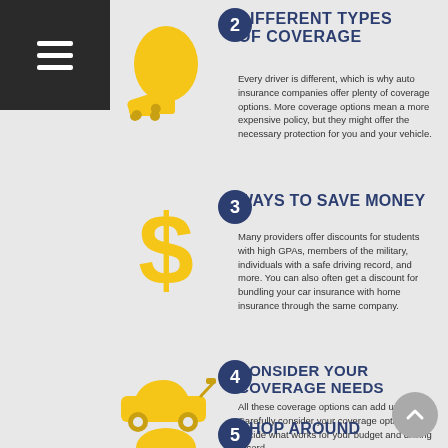[Figure (infographic): Navigation hamburger menu bar (dark background, three white lines) at top left]
DIFFERENT TYPES OF COVERAGE
Every driver is different, which is why auto insurance companies offer plenty of coverage options. More coverage options mean a more expensive policy, but they might offer the necessary protection for you and your vehicle.
[Figure (illustration): Yellow icon of a tree with a car being struck or falling]
3 WAYS TO SAVE MONEY
Many providers offer discounts for students with high GPAs, members of the military, individuals with a safe driving record, and more. You can also often get a discount for bundling your car insurance with home insurance through the same company.
[Figure (illustration): Yellow dollar sign icon]
4 CONSIDER YOUR COVERAGE NEEDS
All these coverage options can add up quickly. Carefully consider your coverage options and decide what works for your budget and driving record.
[Figure (illustration): Yellow car with open hood icon]
5 SHOP AROUND
[Figure (illustration): Yellow partial icon at bottom (person or object, partially visible)]